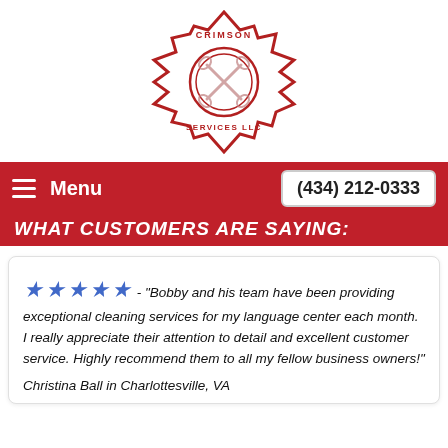[Figure (logo): Crimson Services LLC logo — a red Maltese cross badge with crossed tools/wrenches in the center and text reading 'CRIMSON' at top and 'SERVICES LLC' at bottom]
≡ Menu   (434) 212-0333
WHAT CUSTOMERS ARE SAYING:
★★★★★ - "Bobby and his team have been providing exceptional cleaning services for my language center each month. I really appreciate their attention to detail and excellent customer service. Highly recommend them to all my fellow business owners!"
Christina Ball in Charlottesville, VA